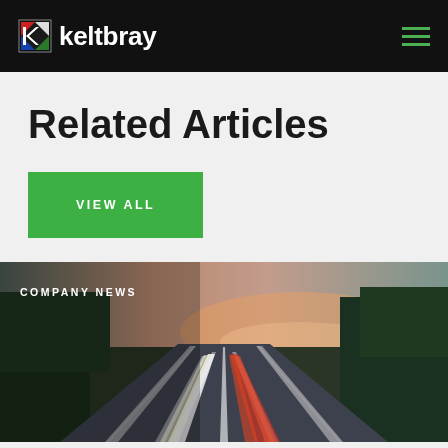keltbray
Related Articles
VIEW ALL
[Figure (photo): Motorway highway at dusk with light trails from vehicles, trees on both sides, sunset sky in background. Overlay text: COMPANY NEWS]